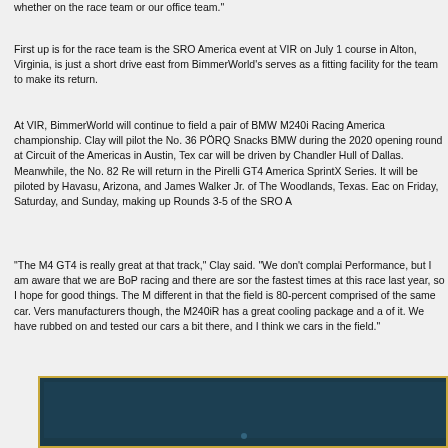whether on the race team or our office team."
First up is for the race team is the SRO America event at VIR on July 1... course in Alton, Virginia, is just a short drive east from BimmerWorld's serves as a fitting facility for the team to make its return.
At VIR, BimmerWorld will continue to field a pair of BMW M240i Racing America championship. Clay will pilot the No. 36 PÖRQ Snacks BMW during the 2020 opening round at Circuit of the Americas in Austin, Tex... car will be driven by Chandler Hull of Dallas. Meanwhile, the No. 82 Re... will return in the Pirelli GT4 America SprintX Series. It will be piloted by Havasu, Arizona, and James Walker Jr. of The Woodlands, Texas. Eac... on Friday, Saturday, and Sunday, making up Rounds 3-5 of the SRO A...
“The M4 GT4 is really great at that track,” Clay said. “We don’t complai... Performance, but I am aware that we are BoP racing and there are sor... the fastest times at this race last year, so I hope for good things. The M... different in that the field is 80-percent comprised of the same car. Vers... manufacturers though, the M240iR has a great cooling package and a... of it. We have rubbed on and tested our cars a bit there, and I think we... cars in the field.”
[Figure (photo): Dark blue/teal background image, partially visible at bottom of page, with a yellow/gold border frame.]